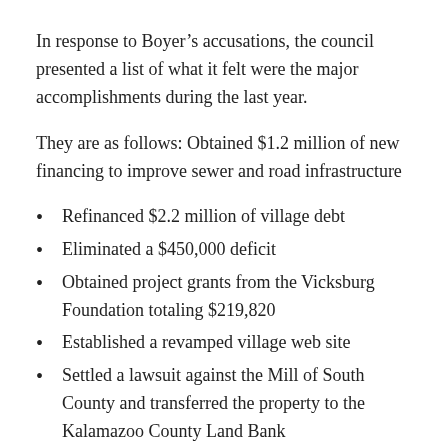In response to Boyer’s accusations, the council presented a list of what it felt were the major accomplishments during the last year.
They are as follows: Obtained $1.2 million of new financing to improve sewer and road infrastructure
Refinanced $2.2 million of village debt
Eliminated a $450,000 deficit
Obtained project grants from the Vicksburg Foundation totaling $219,820
Established a revamped village web site
Settled a lawsuit against the Mill of South County and transferred the property to the Kalamazoo County Land Bank
Developed a business plan for Angels Crossing golf course to allow it to get to a break-even point